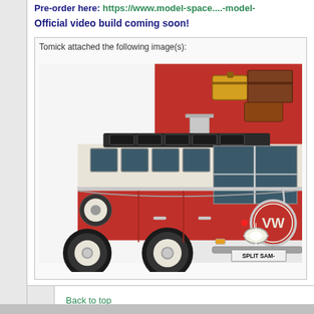Pre-order here: https://www.model-space....-model-
Official video build coming soon!
Tomick attached the following image(s):
[Figure (photo): Red and cream/beige Volkswagen Split-Window Camper Van (VW Bus) model with luggage on roof, photographed against a red and white background. License plate area reads SPLIT SAM-]
Back to top